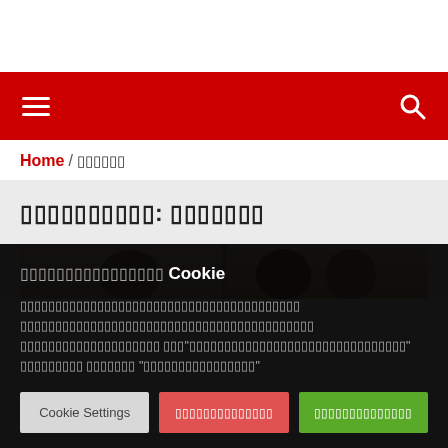[navigation bar with hamburger menu and search icon]
Home / xxxxxxx
xxxxxxxxxx: xxxxxxx
[Figure (photo): Photo strip showing people from behind, sitting at desks or a table, two visible heads]
xxxxxxxxxxxxxxx Cookie
xxxxxxxxxxxxxxxxxxxxxxxxxxxxxxxxxxxxxxxxxx xxxxxxxxxxxxxxxxxxxxxxxxxxxxxxxxxxxxxxxxxx xxxxxxxxxxxxxxxxxx "xxxxxxxxxxxxxxxxxxxxxxxxxx" xxxxxxxxxx xxxxxxxx "xxxxxxxxxxxxxxxxxxxxxxxx"
Cookie Settings | xxxxxxxxxxxxxxxx | xxxxxxxxxxxxxxxx